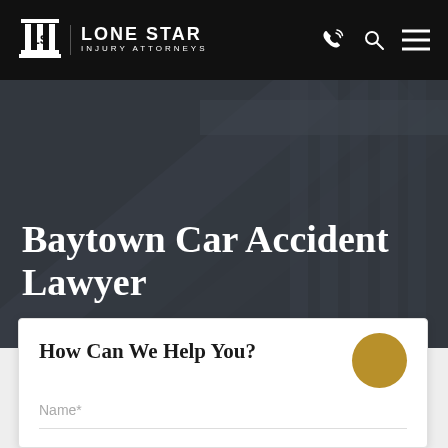Lone Star Injury Attorneys
Baytown Car Accident Lawyer
How Can We Help You?
Name*